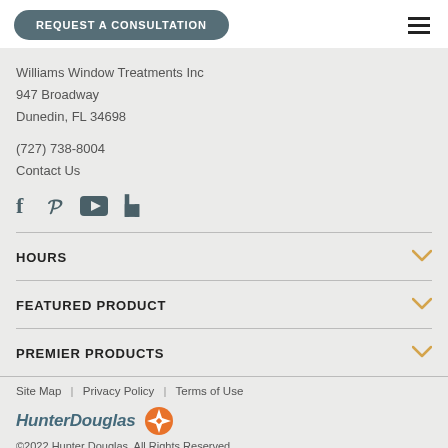REQUEST A CONSULTATION
Williams Window Treatments Inc
947 Broadway
Dunedin, FL 34698
(727) 738-8004
Contact Us
[Figure (infographic): Social media icons: Facebook, Pinterest, YouTube, Houzz]
HOURS
FEATURED PRODUCT
PREMIER PRODUCTS
Site Map | Privacy Policy | Terms of Use
[Figure (logo): HunterDouglas logo with orange compass/star icon]
©2022 Hunter Douglas. All Rights Reserved.